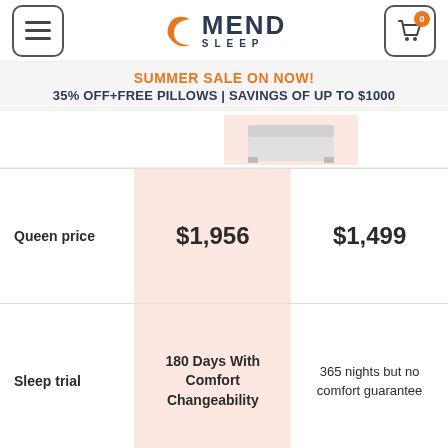[Figure (logo): Mend Sleep logo with crescent moon icon in orange and MEND SLEEP text in dark navy]
SUMMER SALE ON NOW!
35% OFF+FREE PILLOWS | SAVINGS OF UP TO $1000
[Figure (photo): Partial product image of a mattress or bed frame]
|  | Mend Sleep | Other |
| --- | --- | --- |
| Queen price | $1,956 | $1,499 |
| Sleep trial | 180 Days With Comfort Changeability | 365 nights but no comfort guarantee |